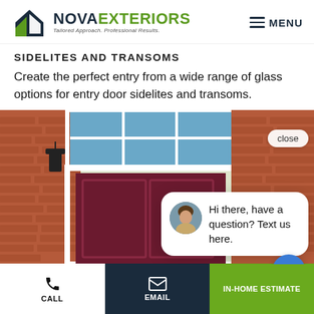NOVA EXTERIORS — Tailored Approach. Professional Results. MENU
SIDELITES AND TRANSOMS
Create the perfect entry from a wide range of glass options for entry door sidelites and transoms.
[Figure (photo): Photo of a home entry door with white transom windows above and brick surround, overlaid by a chat widget and close button]
CALL | EMAIL | IN-HOME ESTIMATE